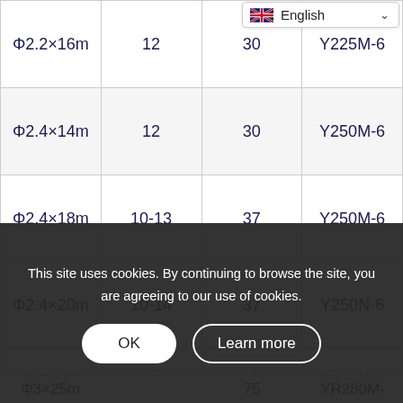| Φ2.2×16m | 12 | 30 | Y225M-6 |
| Φ2.4×14m | 12 | 30 | Y250M-6 |
| Φ2.4×18m | 10-13 | 37 | Y250M-6 |
| Φ2.4×20m | 10-14 | 37 | Y250N-6 |
| Φ3×20m | 9F | 55 | Y250M-4 |
| Φ3×25m |  | 75 | YR280M- |
This site uses cookies. By continuing to browse the site, you are agreeing to our use of cookies.